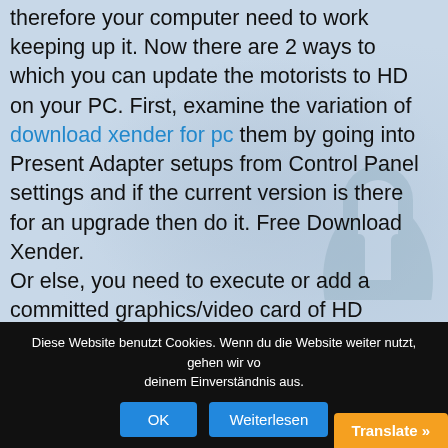therefore your computer need to work keeping up it. Now there are 2 ways to which you can update the motorists to HD on your PC. First, examine the variation of download xender for pc them by going into Present Adapter setups from Control Panel settings and if the current version is there for an upgrade then do it. Free Download Xender. Or else, you need to execute or add a committed graphics/video card of HD criterion into your PC. Obtain 1GB storage size as it will certainly complete future demands. Next off, to download Xender PC Windows, it ought to have at the very least 4GB of RAM. With 4GB of RAM, it ends up being usual these days as well as
Diese Website benutzt Cookies. Wenn du die Website weiter nutzt, gehen wir von deinem Einverständnis aus.